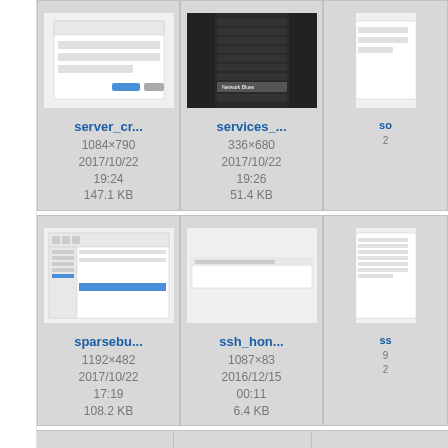[Figure (screenshot): File thumbnail: server_cr... screenshot, 1084x790, 2017/10/22 19:24, 147.1 KB]
[Figure (screenshot): File thumbnail: services_... screenshot, 336x680, 2017/10/22 19:26, 51.4 KB]
[Figure (screenshot): File thumbnail: so... (partially visible), partially cropped]
[Figure (screenshot): File thumbnail: sparsebu... screenshot, 1192x482, 2017/10/22 17:19, 108.2 KB]
[Figure (screenshot): File thumbnail: ssh_hon... screenshot, 1087x83, 2016/12/15 00:11, 6.4 KB]
[Figure (screenshot): File thumbnail: ss... (partially visible), partially cropped]